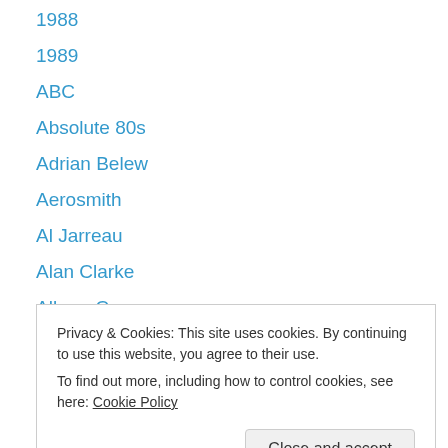1988
1989
ABC
Absolute 80s
Adrian Belew
Aerosmith
Al Jarreau
Alan Clarke
Album Covers
Album Openers
Album Reviews
Alex Hurricane Higgins
Alex Sadkin
Privacy & Cookies: This site uses cookies. By continuing to use this website, you agree to their use. To find out more, including how to control cookies, see here: Cookie Policy
Andy Summers and Robert Fripp